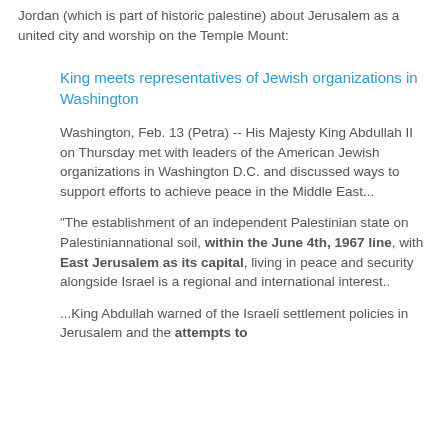Jordan (which is part of historic palestine) about Jerusalem as a united city and worship on the Temple Mount:
King meets representatives of Jewish organizations in Washington
Washington, Feb. 13 (Petra) -- His Majesty King Abdullah II on Thursday met with leaders of the American Jewish organizations in Washington D.C. and discussed ways to support efforts to achieve peace in the Middle East...
"The establishment of an independent Palestinian state on Palestiniannational soil, within the June 4th, 1967 line, with East Jerusalem as its capital, living in peace and security alongside Israel is a regional and international interest..
...King Abdullah warned of the Israeli settlement policies in Jerusalem and the attempts to tamper with Muslim and Christian holy it...